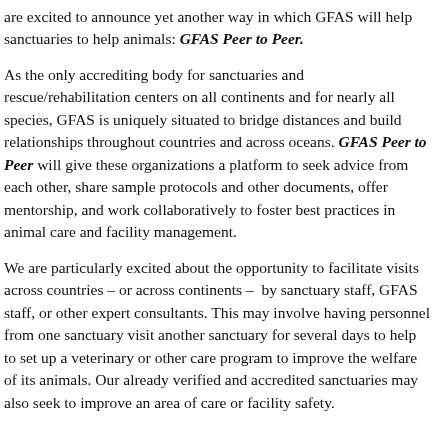are excited to announce yet another way in which GFAS will help sanctuaries to help animals: GFAS Peer to Peer.
As the only accrediting body for sanctuaries and rescue/rehabilitation centers on all continents and for nearly all species, GFAS is uniquely situated to bridge distances and build relationships throughout countries and across oceans. GFAS Peer to Peer will give these organizations a platform to seek advice from each other, share sample protocols and other documents, offer mentorship, and work collaboratively to foster best practices in animal care and facility management.
We are particularly excited about the opportunity to facilitate visits across countries – or across continents – by sanctuary staff, GFAS staff, or other expert consultants. This may involve having personnel from one sanctuary visit another sanctuary for several days to help to set up a veterinary or other care program to improve the welfare of its animals. Our already verified and accredited sanctuaries may also seek to improve an area of care or facility safety.